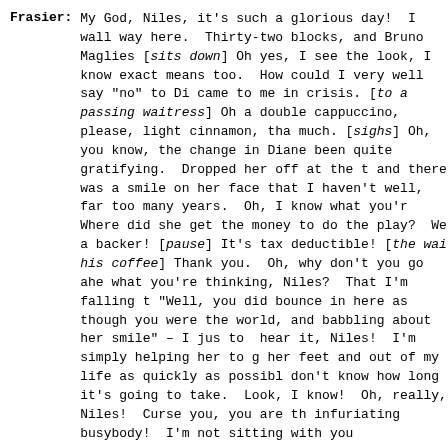Frasier: My God, Niles, it's such a glorious day! I walked all the way here. Thirty-two blocks, and Bruno Maglies! [sits down] Oh yes, I see the look, I know exactly what it means too. How could I very well say "no" to Diane? She came to me in crisis. [to a passing waitress] Oh, could I get a double cappuccino, please, light cinnamon, thank you so much. [sighs] Oh, you know, the change in Diane's life has been quite gratifying. Dropped her off at the theater, and there was a smile on her face that I haven't seen in, well, far too many years. Oh, I know what you're thinking. Where did she get the money to do the play? Well, I became a backer! [pause] It's tax deductible! [the waitress brings his coffee] Thank you. Oh, why don't you go ahead and say what you're thinking, Niles? That I'm falling for her again. "Well, you did bounce in here as though you were on top of the world, and babbling about her smile" - I just don't want to hear it, Niles! I'm simply helping her to get back on her feet and out of my life as quickly as possible. I just don't know how long it's going to take. Look, I just don't know! Oh, really, Niles! Curse you, you are the most infuriating busybody! I'm not sitting with you
Frasier gets up and goes to another table. Niles takes a notebook out of his jacket and starts writing.
FADE TO:
FOREPLAY